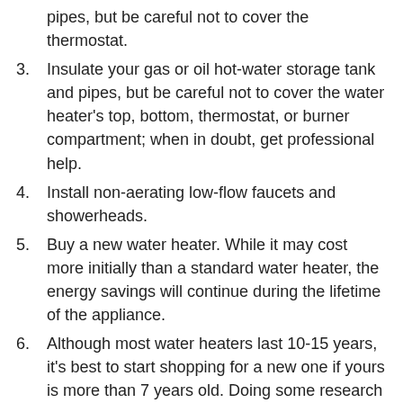pipes, but be careful not to cover the thermostat.
3. Insulate your gas or oil hot-water storage tank and pipes, but be careful not to cover the water heater’s top, bottom, thermostat, or burner compartment; when in doubt, get professional help.
4. Install non-aerating low-flow faucets and showerheads.
5. Buy a new water heater. While it may cost more initially than a standard water heater, the energy savings will continue during the lifetime of the appliance.
6. Although most water heaters last 10-15 years, it's best to start shopping for a new one if yours is more than 7 years old. Doing some research before your heater fails will enable you to select one that most appropriately meets your needs.
7. Lower the thermostat on your water heater; water